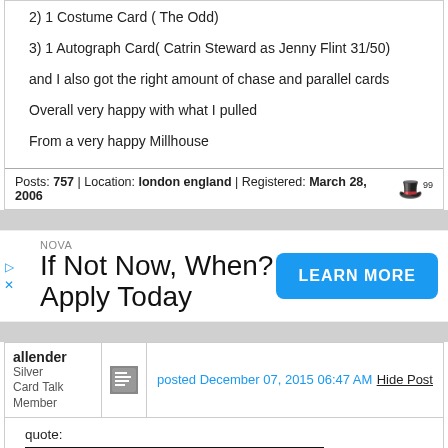2) 1 Costume Card ( The Odd)
3) 1 Autograph Card( Catrin Steward as Jenny Flint 31/50)
and I also got the right amount of chase and parallel cards
Overall very happy with what I pulled
From a very happy Millhouse
Posts: 757 | Location: london england | Registered: March 28, 2006
[Figure (other): Advertisement banner: NOVA - If Not Now, When? Apply Today - LEARN MORE button]
allender Silver Card Talk Member
posted December 07, 2015 06:47 AM
Hide Post
quote:
Originally posted by steve j:
Variants are interesting, as this set only